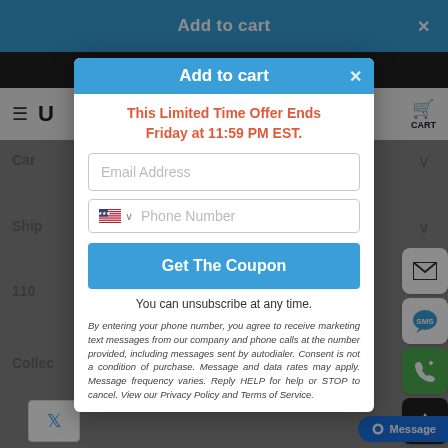Add to cart
GET ADDITIONAL 7% OFF
This Limited Time Offer Ends Friday at 11:59 PM EST.
Email Address
Phone Number
Get The Coupon
You can unsubscribe at any time.
By entering your phone number, you agree to receive marketing text messages from our company and phone calls at the number provided, including messages sent by autodialer. Consent is not a condition of purchase. Message and data rates may apply. Message frequency varies. Reply HELP for help or STOP to cancel. View our Privacy Policy and Terms of Service.